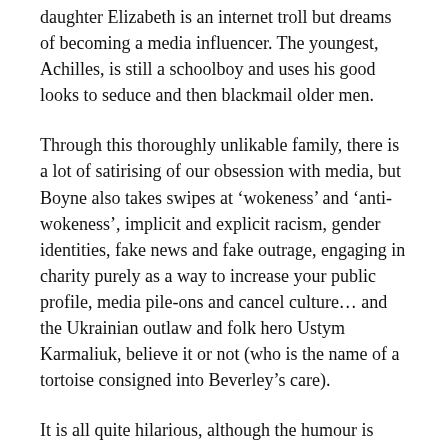daughter Elizabeth is an internet troll but dreams of becoming a media influencer. The youngest, Achilles, is still a schoolboy and uses his good looks to seduce and then blackmail older men.
Through this thoroughly unlikable family, there is a lot of satirising of our obsession with media, but Boyne also takes swipes at ‘wokeness’ and ‘anti-wokeness’, implicit and explicit racism, gender identities, fake news and fake outrage, engaging in charity purely as a way to increase your public profile, media pile-ons and cancel culture… and the Ukrainian outlaw and folk hero Ustym Karmaliuk, believe it or not (who is the name of a tortoise consigned into Beverley’s care).
It is all quite hilarious, although the humour is more farce than subtle. It made me snort with laughter a few times, but about halfway in, it starts